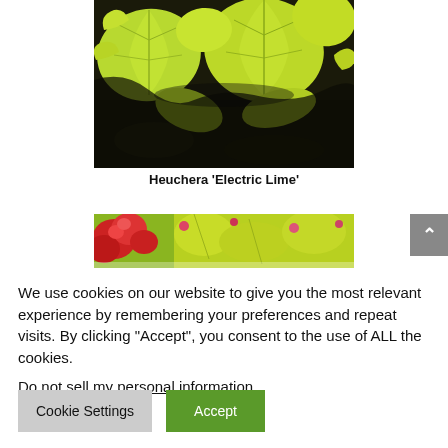[Figure (photo): Close-up photo of Heuchera 'Electric Lime' plant with bright yellow-green lobed leaves on a dark soil background]
Heuchera 'Electric Lime'
[Figure (photo): Partial view of a garden scene with red and yellow-green flowering plants, partially obscured by cookie consent overlay]
We use cookies on our website to give you the most relevant experience by remembering your preferences and repeat visits. By clicking “Accept”, you consent to the use of ALL the cookies.
Do not sell my personal information.
Cookie Settings
Accept